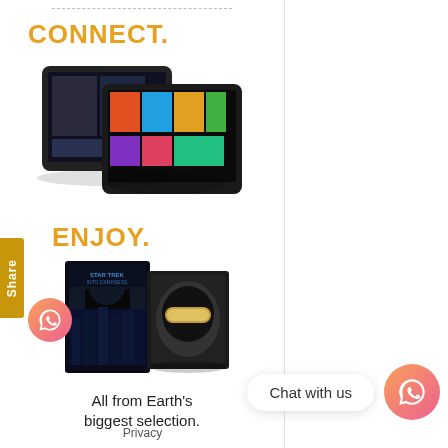[Figure (screenshot): Amazon advertisement panel showing tablets for 'CONNECT.' section and movie covers for 'ENJOY.' section, with Amazon logo and tagline]
Chat with us